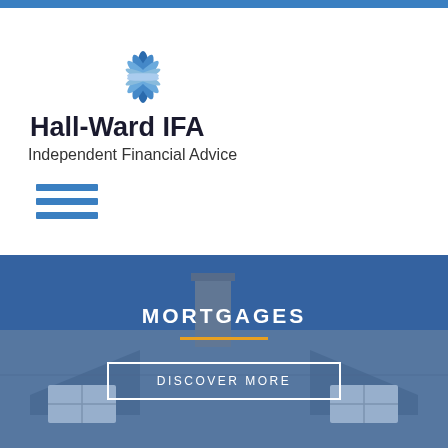[Figure (logo): Hall-Ward IFA logo with blue lotus/leaf flower icon above the company name]
Hall-Ward IFA
Independent Financial Advice
[Figure (illustration): Three horizontal blue lines forming a hamburger menu icon]
[Figure (photo): Photo of a house rooftop with dormers and a chimney, tinted blue, used as hero background image]
MORTGAGES
DISCOVER MORE